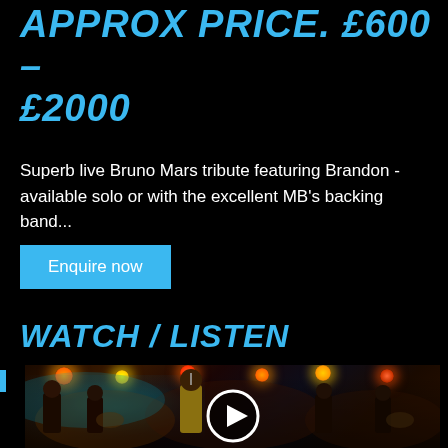APPROX PRICE. £600 - £2000
Superb live Bruno Mars tribute featuring Brandon - available solo or with the excellent MB's backing band...
Enquire now
WATCH / LISTEN
[Figure (photo): Concert performance photo showing a band on stage with colorful stage lighting. A singer in a gold jacket performs at the microphone with band members around him. A play button overlay is visible in the center of the image.]